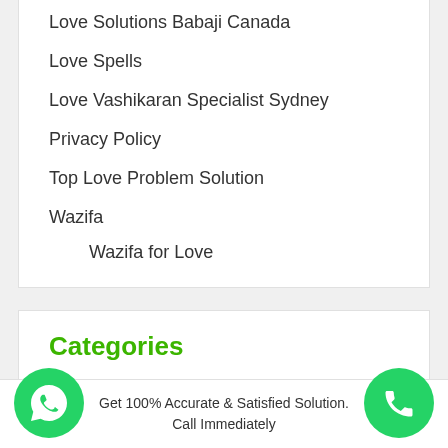Love Solutions Babaji Canada
Love Spells
Love Vashikaran Specialist Sydney
Privacy Policy
Top Love Problem Solution
Wazifa
Wazifa for Love
Categories
Get 100% Accurate & Satisfied Solution. Call Immediately